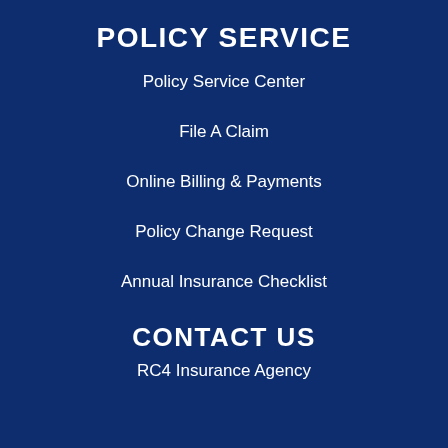POLICY SERVICE
Policy Service Center
File A Claim
Online Billing & Payments
Policy Change Request
Annual Insurance Checklist
CONTACT US
RC4 Insurance Agency